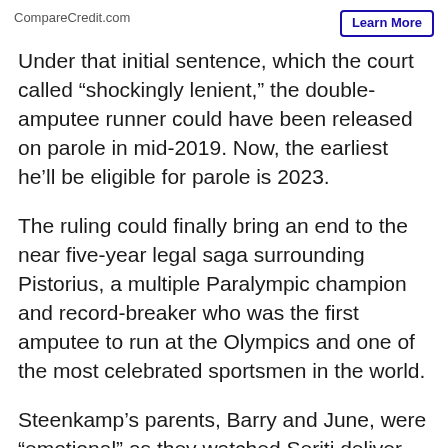CompareCredit.com
Learn More
Under that initial sentence, which the court called "shockingly lenient," the double-amputee runner could have been released on parole in mid-2019. Now, the earliest he'll be eligible for parole is 2023.
The ruling could finally bring an end to the near five-year legal saga surrounding Pistorius, a multiple Paralympic champion and record-breaker who was the first amputee to run at the Olympics and one of the most celebrated sportsmen in the world.
Steenkamp's parents, Barry and June, were "emotional" as they watched Seriti deliver the verdict live on television at their home, family lawyer Tania Koen said.